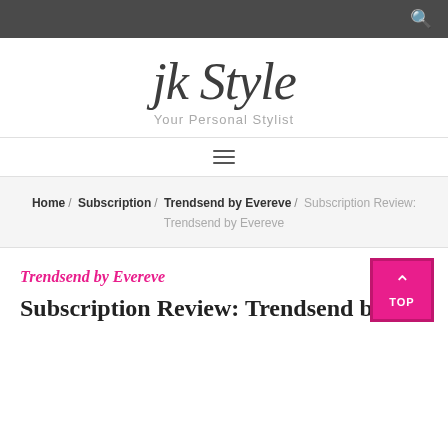Search icon / navigation bar
jk Style — Your Personal Stylist
hamburger menu icon
Home / Subscription / Trendsend by Evereve / Subscription Review: Trendsend by Evereve
Trendsend by Evereve
Subscription Review: Trendsend by